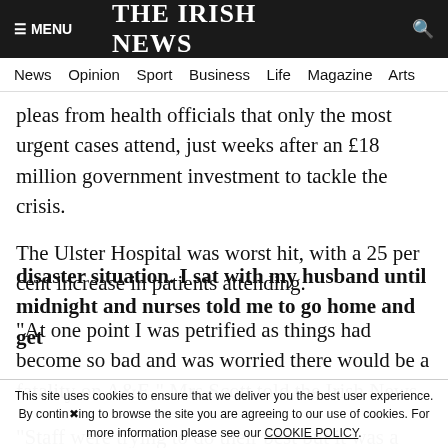≡ MENU   THE IRISH NEWS   🔍
News  Opinion  Sport  Business  Life  Magazine  Arts
pleas from health officials that only the most urgent cases attend, just weeks after an £18 million government investment to tackle the crisis.
The Ulster Hospital was worst hit, with a 25 per cent increase in patients attending.
"At one point I was petrified as things had become so bad and was worried there would be a fatality on A&E," Mrs Scott told the Irish News.
"Staff were trying to do their best but it was a
disaster situation. I sat with my husband until midnight and nurses told me to go home and get
This site uses cookies to ensure that we deliver you the best user experience. By continuing to browse the site you are agreeing to our use of cookies. For more information please see our COOKIE POLICY